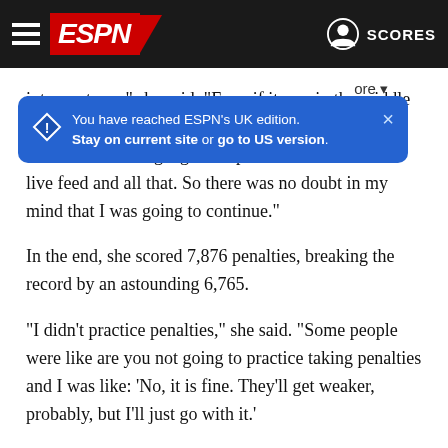ESPN - Scores
You have reached ESPN's UK edition. Stay on current site or go to US version.
into my team," she said. "Even if it was in the middle of the night, I had got them to commit to coming out at 3 a.m. and being a goalkeeper. There was also the live feed and all that. So there was no doubt in my mind that I was going to continue."
In the end, she scored 7,876 penalties, breaking the record by an astounding 6,765.
"I didn't practice penalties," she said. "Some people were like are you not going to practice taking penalties and I was like: 'No, it is fine. They'll get weaker, probably, but I'll just go with it.'
"I did get fatigued. My legs were getting really, really heavy,